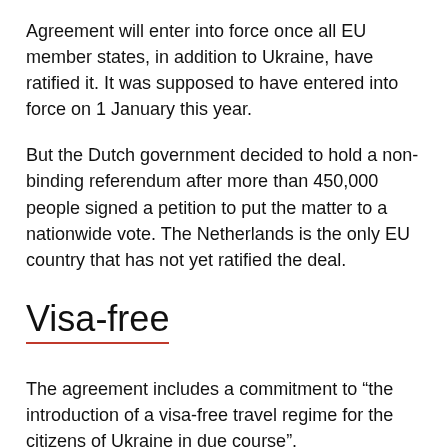Agreement will enter into force once all EU member states, in addition to Ukraine, have ratified it. It was supposed to have entered into force on 1 January this year.
But the Dutch government decided to hold a non-binding referendum after more than 450,000 people signed a petition to put the matter to a nationwide vote. The Netherlands is the only EU country that has not yet ratified the deal.
Visa-free
The agreement includes a commitment to “the introduction of a visa-free travel regime for the citizens of Ukraine in due course”.
Dutch Foreign Minister Bert Koenders accepted that if people voted against the EU–Ukraine association